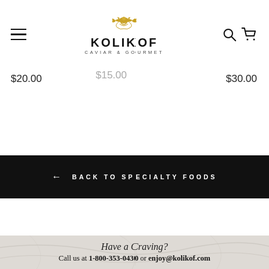KOLIKOF CAVIAR & GOURMET — navigation header with logo, hamburger menu, search and cart icons
$20.00
$15.00
$30.00
← BACK TO SPECIALTY FOODS
Have a Craving? Call us at 1-800-353-0430 or enjoy@kolikof.com